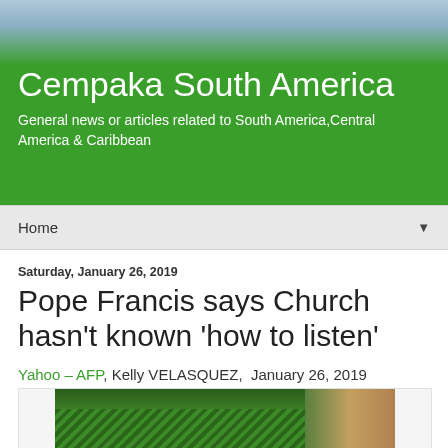Cempaka South America
General news or articles related to South America,Central America & Caribbean
Home
Saturday, January 26, 2019
Pope Francis says Church hasn't known 'how to listen'
Yahoo – AFP, Kelly VELASQUEZ,  January 26, 2019
[Figure (photo): Photo showing green foliage/ferns with what appears to be a white-clad figure and a wooden object (possibly a casket) in the background]